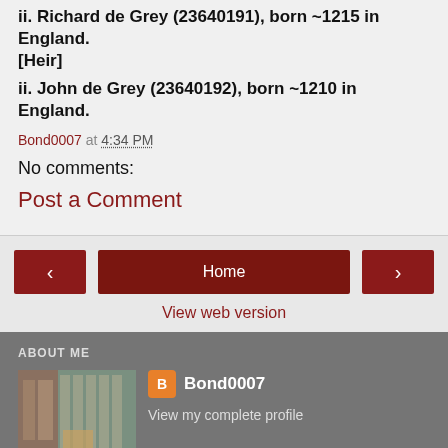ii. Richard de Grey (23640191), born ~1215 in England. [Heir]
ii. John de Grey (23640192), born ~1210 in England.
Bond0007 at 4:34 PM
No comments:
Post a Comment
Home
View web version
ABOUT ME
Bond0007
View my complete profile
Powered by Blogger.